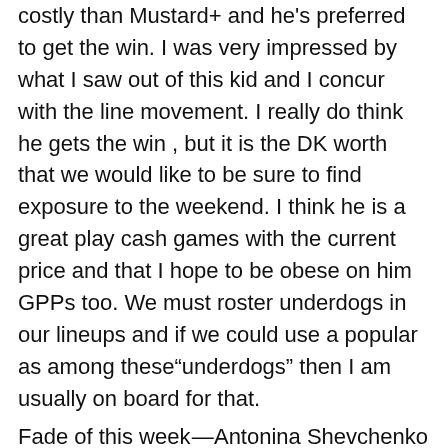costly than Mustard+ and he's preferred to get the win. I was very impressed by what I saw out of this kid and I concur with the line movement. I really do think he gets the win , but it is the DK worth that we would like to be sure to find exposure to the weekend. I think he is a great play cash games with the current price and that I hope to be obese on him GPPs too. We must roster underdogs in our lineups and if we could use a popular as among these"underdogs" then I am usually on board for that.
Fade of this week — Antonina Shevchenko ($9,300)
Antonina Shevchenko is my fade of the week for her $9.3k price label. I do think she gets the win here as I said earlier, I simply don't see the way she